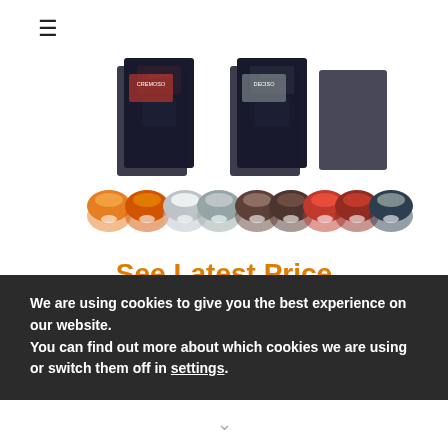[Figure (photo): Product image showing Nespresso-compatible Gimoka coffee capsule boxes (Cremoso and Deciso varieties) and a row of colorful capsules in orange, silver, brown, red, and black colors]
See Latest Price
As certified to be compatible with almost all Nespresso coffee machines, Gimoka capsules can work well with
We are using cookies to give you the best experience on our website.
You can find out more about which cookies we are using or switch them off in settings.